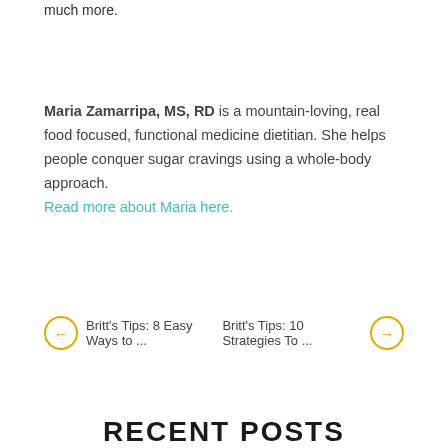much more.
Maria Zamarripa, MS, RD is a mountain-loving, real food focused, functional medicine dietitian. She helps people conquer sugar cravings using a whole-body approach. Read more about Maria here.
Britt's Tips: 8 Easy Ways to ...    Britt's Tips: 10 Strategies To ...
RECENT POSTS